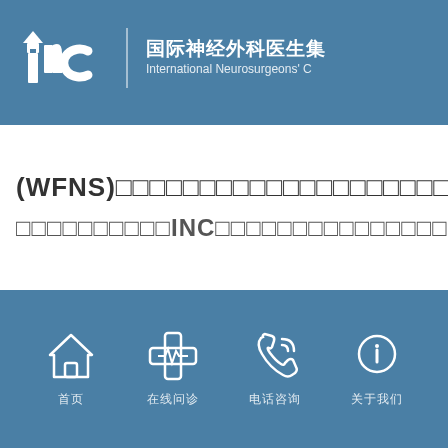[Figure (logo): INC logo with house shape on letter i, alongside Chinese and English organization name: 国际神经外科医生集 / International Neurosurgeons' C]
(WFNS)□□□□□□□□□□□□□□□□□□□□□□□
□□□□□□□□□□INC□□□□□□□□□□□□□□□□□
[Figure (infographic): Four white outline icons on blue background: house/home, medical cross with heartbeat line, telephone with signal waves, info bubble circle. Below each icon are Chinese character labels.]